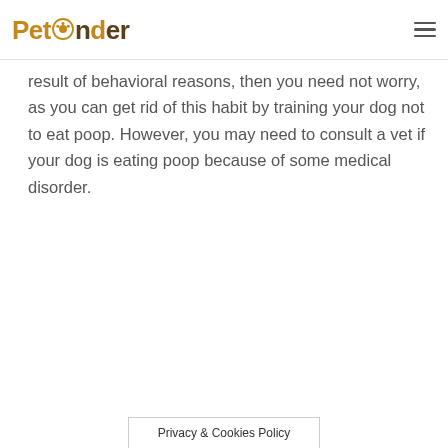PetPonder
result of behavioral reasons, then you need not worry, as you can get rid of this habit by training your dog not to eat poop. However, you may need to consult a vet if your dog is eating poop because of some medical disorder.
Privacy & Cookies Policy